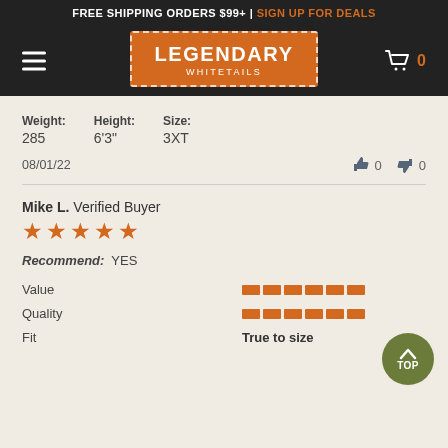FREE SHIPPING ORDERS $99+ | SIGN UP FOR DEALS
[Figure (logo): Legendary Whitetails logo — orange rectangle with dashed white border, white serif text]
Weight: 285  Height: 6'3"  Size: 3XT
08/01/22  👍 0  👎 0
Mike L.  Verified Buyer
[Figure (infographic): 4.5 out of 5 stars rating shown as orange star icons]
Recommend: YES
Value
[Figure (infographic): Orange segmented bar for Value rating]
Quality
[Figure (infographic): Orange segmented bar for Quality rating]
Fit  True to size